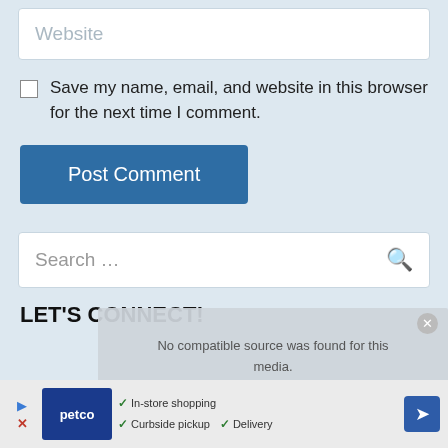Website
Save my name, email, and website in this browser for the next time I comment.
Post Comment
Search …
LET'S CONNECT!
No compatible source was found for this media.
[Figure (screenshot): Petco advertisement banner showing In-store shopping, Curbside pickup, and Delivery options with navigation arrow button]